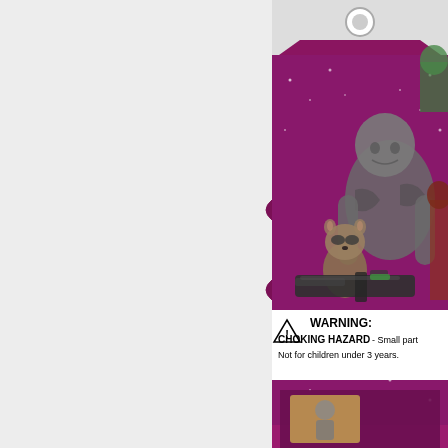[Figure (photo): Toy packaging card for Guardians of the Galaxy action figures. The card is shaped like a tag with a hole at the top. The packaging shows Marvel characters including Drax the Destroyer (large muscular grey alien), Rocket Raccoon (holding a large gun), and other Guardians characters on a purple/magenta cosmic background. Below the character artwork is a warning label on a white background. The card is partially cut off on the right side.]
WARNING: CHOKING HAZARD - Small parts. Not for children under 3 years.